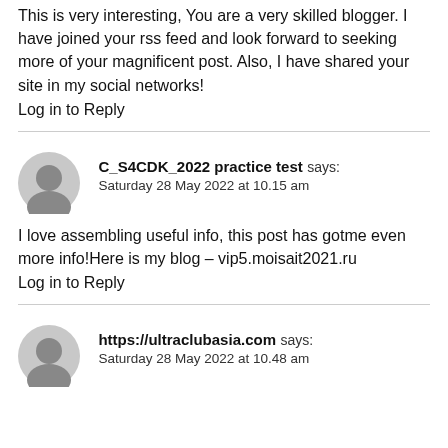This is very interesting, You are a very skilled blogger. I have joined your rss feed and look forward to seeking more of your magnificent post. Also, I have shared your site in my social networks!
Log in to Reply
C_S4CDK_2022 practice test says:
Saturday 28 May 2022 at 10.15 am
I love assembling useful info, this post has gotme even more info!Here is my blog – vip5.moisait2021.ru
Log in to Reply
https://ultraclubasia.com says:
Saturday 28 May 2022 at 10.48 am